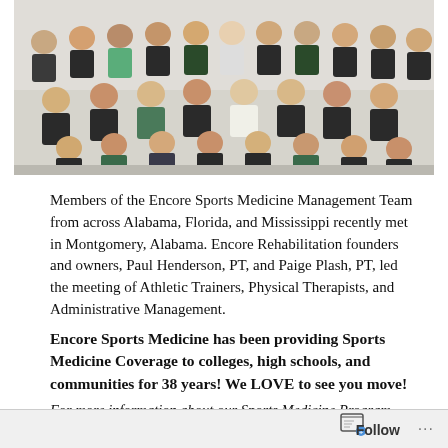[Figure (photo): Group photo of members of the Encore Sports Medicine Management Team, approximately 20 people seated and standing in rows indoors.]
Members of the Encore Sports Medicine Management Team from across Alabama, Florida, and Mississippi recently met in Montgomery, Alabama. Encore Rehabilitation founders and owners, Paul Henderson, PT, and Paige Plash, PT, led the meeting of Athletic Trainers, Physical Therapists, and Administrative Management.
Encore Sports Medicine has been providing Sports Medicine Coverage to colleges, high schools, and communities for 38 years! We LOVE to see you move!
For more information about our Sports Medicine Program, visit our website at encorerehab.com or contact Gary Barfield at 404...